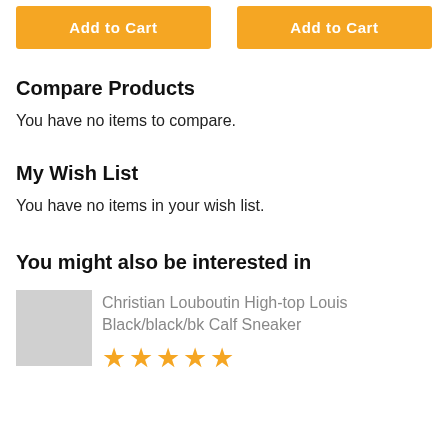[Figure (other): Two orange 'Add to Cart' buttons side by side at the top of the page]
Compare Products
You have no items to compare.
My Wish List
You have no items in your wish list.
You might also be interested in
Christian Louboutin High-top Louis Black/black/bk Calf Sneaker
[Figure (other): Five orange star rating icons]